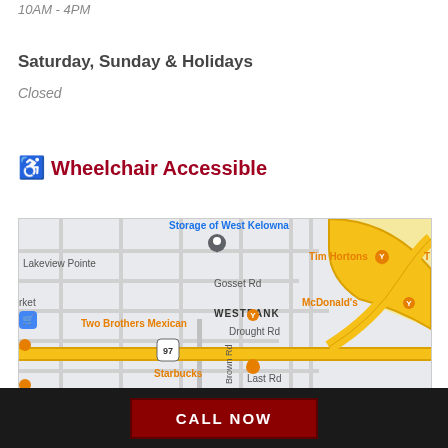10AM - 4PM
Saturday, Sunday & Holidays
Closed
♿ Wheelchair Accessible
[Figure (map): Google Maps screenshot showing Westbank area with roads, landmarks including Tim Hortons, McDonald's, Two Brothers Mexican, Starbucks, Johnson Be... Lakeview Pointe, Gosset Rd, Drought Rd, Last Rd, Brown Rd, Gallatly road, and highway 97.]
CALL NOW